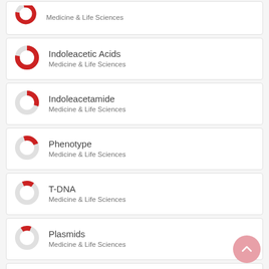Medicine & Life Sciences
Indoleacetic Acids
Medicine & Life Sciences
Indoleacetamide
Medicine & Life Sciences
Phenotype
Medicine & Life Sciences
T-DNA
Medicine & Life Sciences
Plasmids
Medicine & Life Sciences
Plant Growth Regulators
Medicine & Life Sciences